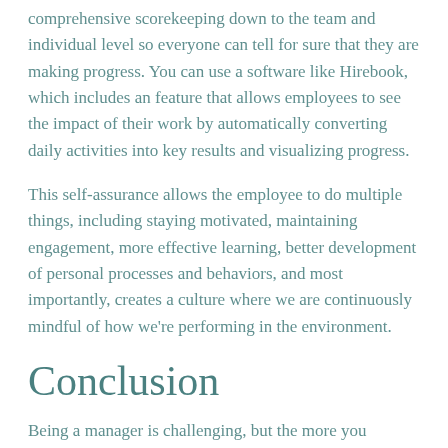comprehensive scorekeeping down to the team and individual level so everyone can tell for sure that they are making progress. You can use a software like Hirebook, which includes an feature that allows employees to see the impact of their work by automatically converting daily activities into key results and visualizing progress.
This self-assurance allows the employee to do multiple things, including staying motivated, maintaining engagement, more effective learning, better development of personal processes and behaviors, and most importantly, creates a culture where we are continuously mindful of how we're performing in the environment.
Conclusion
Being a manager is challenging, but the more you support your team, the more support you'll get back from them. Take advantage of the high-tech